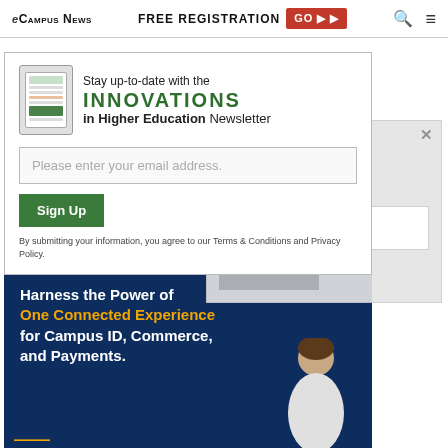eCampus News | FREE REGISTRATION GO ▶ 🔍 ≡
[Figure (screenshot): Newsletter signup modal for Innovations in Higher Education Newsletter with email input and Sign Up button, overlapping a ghost/background modal. Below is a TRANSACT advertisement on dark blue background.]
Stay up-to-date with the INNOVATIONS in Higher Education Newsletter
Please enter your email address.
Sign Up
By submitting your information, you agree to our Terms & Conditions and Privacy Policy.
TRANSACT
Harness the Power of One Connected Experience for Campus ID, Commerce, and Payments.